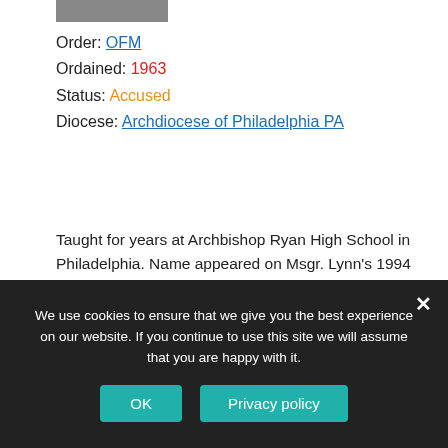[Figure (photo): Partial photograph of a person, cropped at top of page]
Order: OFM
Ordained: 1963
Status: Accused
Diocese: Archdiocese of Philadelphia PA
Taught for years at Archbishop Ryan High School in Philadelphia. Name appeared on Msgr. Lynn's 1994 list of extern/order priests who were accused of abuse of children. No public accusations known until 2012. Order and Archdiocese acknowledge that he was once accused of misconduct with an adult but never a child. Retired with no public ministry. Died 1/2/20 in Burlington WI.
We use cookies to ensure that we give you the best experience on our website. If you continue to use this site we will assume that you are happy with it.